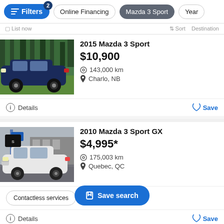Filters (2) | Online Financing | Mazda 3 Sport | Year
List now   Sort / Destination
[Figure (photo): Dark blue Mazda 3 Sport hatchback parked on grass with trees in background]
2015 Mazda 3 Sport
$10,900
143,000 km
Charlo, NB
Details   Save
[Figure (photo): White Mazda 3 Sport hatchback parked on wet pavement near dealership]
2010 Mazda 3 Sport GX
$4,995*
175,003 km
Quebec, QC
Contactless services   Save search
Details   Save